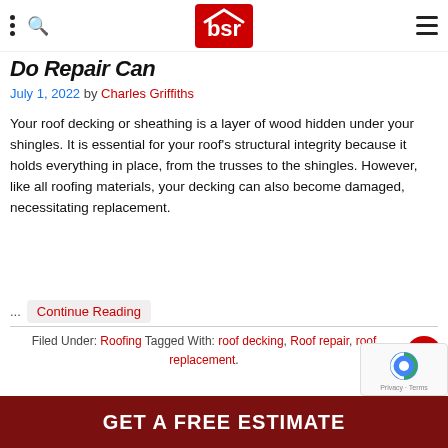BSR logo navigation header
Do Repair Can
July 1, 2022 by Charles Griffiths
Your roof decking or sheathing is a layer of wood hidden under your shingles. It is essential for your roof's structural integrity because it holds everything in place, from the trusses to the shingles. However, like all roofing materials, your decking can also become damaged, necessitating replacement.
... Continue Reading
Filed Under: Roofing Tagged With: roof decking, Roof repair, roof replacement.
GET A FREE ESTIMATE